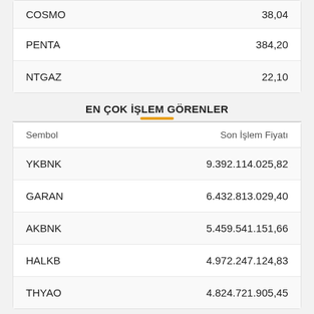| Sembol | Son İşlem Fiyatı |
| --- | --- |
| COSMO | 38,04 |
| PENTA | 384,20 |
| NTGAZ | 22,10 |
EN ÇOK İŞLEM GÖRENLER
| Sembol | Son İşlem Fiyatı |
| --- | --- |
| YKBNK | 9.392.114.025,82 |
| GARAN | 6.432.813.029,40 |
| AKBNK | 5.459.541.151,66 |
| HALKB | 4.972.247.124,83 |
| THYAO | 4.824.721.905,45 |